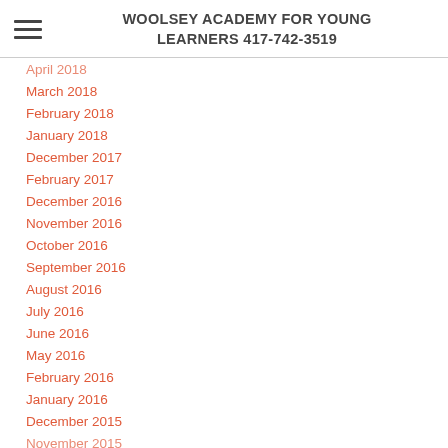WOOLSEY ACADEMY FOR YOUNG LEARNERS 417-742-3519
April 2018
March 2018
February 2018
January 2018
December 2017
February 2017
December 2016
November 2016
October 2016
September 2016
August 2016
July 2016
June 2016
May 2016
February 2016
January 2016
December 2015
November 2015